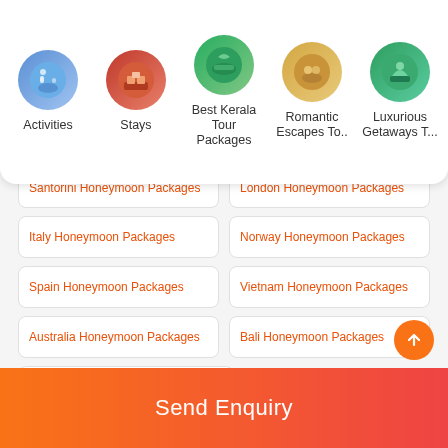[Figure (other): Navigation bar with 5 circular icon categories: Activities, Stays, Best Kerala Tour Packages, Romantic Escapes To.., Luxurious Getaways T..]
Santorini Honeymoon Packages
London Honeymoon Packages
Italy Honeymoon Packages
Norway Honeymoon Packages
Spain Honeymoon Packages
Vietnam Honeymoon Packages
Australia Honeymoon Packages
Bali Honeymoon Packages
Switzerland Honeymoon Packages
Bhutan Honeymoon Packages
Seychelles Honeymoon Packages
Greece Honeymoon Packages
Phuket Honeymoon Packages
Send Enquiry